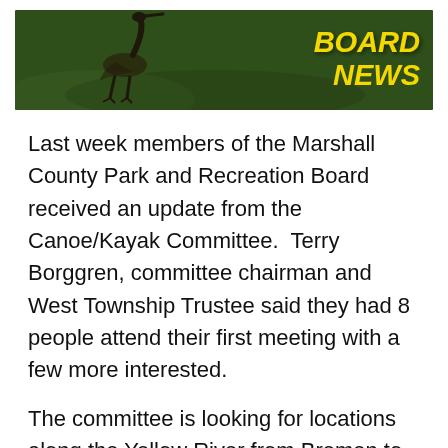[Figure (photo): Banner image with a bird (heron) on a green nature background with yellow bold italic text reading 'BOARD NEWS']
Last week members of the Marshall County Park and Recreation Board received an update from the Canoe/Kayak Committee.  Terry Borggren, committee chairman and West Township Trustee said they had 8 people attend their first meeting with a few more interested.
The committee is looking for locations along the Yellow River from Bremen to the Marshall/Starke County line to add some locations to put-in or get-out of the river.  The hope is that as the County works on bridge